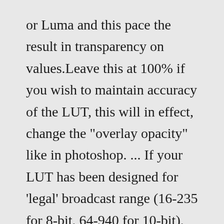or Luma and this pace the result in transparency on values.Leave this at 100% if you wish to maintain accuracy of the LUT, this will in effect, change the "overlay opacity" like in photoshop. ... If your LUT has been designed for 'legal' broadcast range (16-235 for 8-bit, 64-940 for 10-bit), use this setting so that your signal gets displayed properly. ... Converting a LUT using Davinci ResolveThe LUTs contained